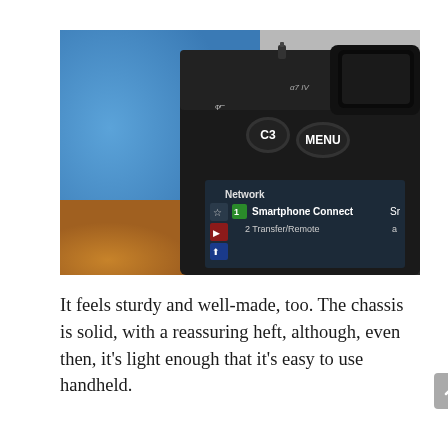[Figure (photo): Close-up photo of the back of a Sony camera body showing C3 and MENU buttons, with the camera's LCD screen visible displaying a Network menu with options including Smartphone Connect and Transfer/Remote. A blue blurred background is visible.]
It feels sturdy and well-made, too. The chassis is solid, with a reassuring heft, although, even then, it's light enough that it's easy to use handheld.